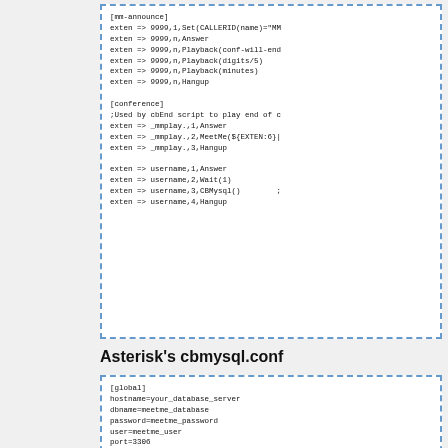[mm-announce]
exten => 9999,1,Set(CALLERID(name)="MM
exten => 9999,n,Answer
exten => 9999,n,Playback(conf-will-end
exten => 9999,n,Playback(digits/5)
exten => 9999,n,Playback(minutes)
exten => 9999,n,Hangup

[conference]
;Used by cbEnd script to play end of c
exten => _mmplay.,1,Answer
exten => _mmplay.,2,MeetMe(${EXTEN:6}|
exten => _mmplay.,3,Hangup

exten => username,1,Answer
exten => username,2,Wait(1)
exten => username,3,CBMysql()        ;
exten => username,4,Hangup
Asterisk's cbmysql.conf
[global]
hostname=your_database_server
dbname=meetme_database
password=meetme_password
user=meetme_user
port=3306
sock=/var/run/mysql/mysql.sock
DBOpts=yes
OptsAdm=asdp
OptsUpgrade=